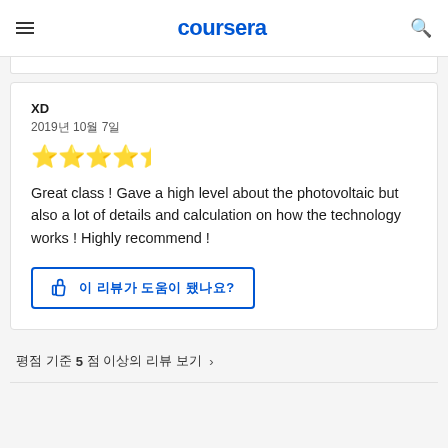coursera
XD
2019년 10월 7일
[Figure (other): 5 gold star rating]
Great class ! Gave a high level about the photovoltaic but also a lot of details and calculation on how the technology works ! Highly recommend !
이 리뷰가 도움이 됐나요?
평점 기준 5점 이상의 리뷰 보기 >